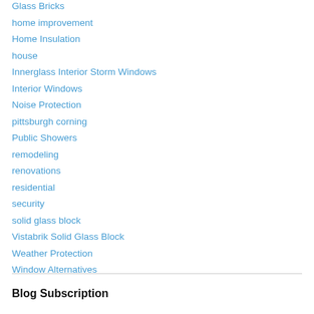Glass Bricks
home improvement
Home Insulation
house
Innerglass Interior Storm Windows
Interior Windows
Noise Protection
pittsburgh corning
Public Showers
remodeling
renovations
residential
security
solid glass block
Vistabrik Solid Glass Block
Weather Protection
Window Alternatives
Blog Subscription